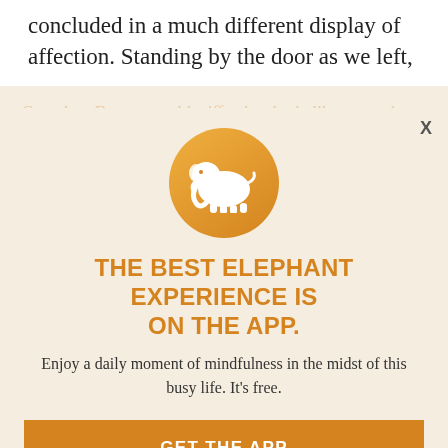concluded in a much different display of affection. Standing by the door as we left,
Grandma Dagny would stiffen her body like a wooden board and lean slightly in my direction, arms by her sides. She would awkwardly turn her cheek out to field any attempt at a hug, thorough and unyielding, contact with the cool and cool woman. She then expressed through physical contact. It's da... Very Scandinavian. Your affection, though, through the application.
[Figure (logo): Orange circle with white elephant silhouette — Elephant Journal app icon]
THE BEST ELEPHANT EXPERIENCE IS ON THE APP.
Enjoy a daily moment of mindfulness in the midst of this busy life. It's free.
GET THE APP
OPEN IN APP